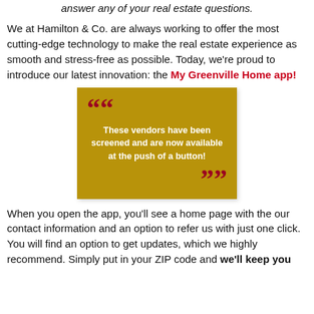answer any of your real estate questions.
We at Hamilton & Co. are always working to offer the most cutting-edge technology to make the real estate experience as smooth and stress-free as possible. Today, we're proud to introduce our latest innovation: the My Greenville Home app!
[Figure (infographic): Gold/yellow square quote box with dark red quotation marks and white bold text reading: These vendors have been screened and are now available at the push of a button!]
When you open the app, you'll see a home page with the our contact information and an option to refer us with just one click. You will find an option to get updates, which we highly recommend. Simply put in your ZIP code and we'll keep you